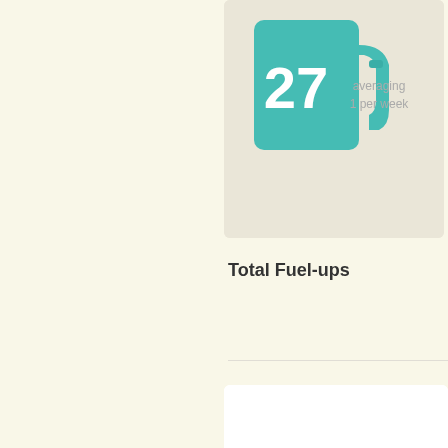[Figure (infographic): Teal fuel pump icon with large number 27 and text 'averaging 1 per week' on a beige card background]
Total Fuel-ups
[Figure (bar-chart): Bar chart showing Average Consumption in MPG, y-axis from 10 to 30, teal bars around 24 MPG]